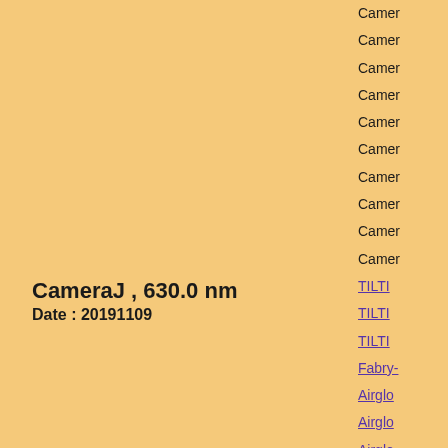CameraJ , 630.0 nm
Date : 20191109
Click figure to enlarge
Camera
Camera
Camera
Camera
Camera
Camera
Camera
Camera
Camera
Camera
TILTI
TILTI
TILTI
Fabry-
Airglo
Airglo
Airglo
Airglo
Airglo
Airglo
3-ch p
3-ch p